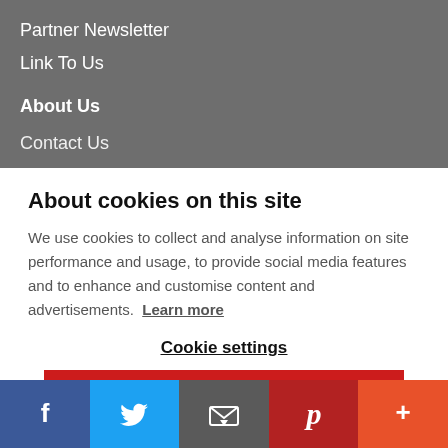Partner Newsletter
Link To Us
About Us
Contact Us
About cookies on this site
We use cookies to collect and analyse information on site performance and usage, to provide social media features and to enhance and customise content and advertisements. Learn more
Cookie settings
DENY ALL
ALLOW ALL COOKIES